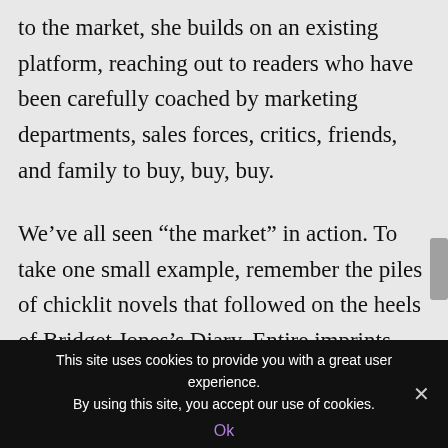to the market, she builds on an existing platform, reaching out to readers who have been carefully coached by marketing departments, sales forces, critics, friends, and family to buy, buy, buy.
We’ve all seen “the market” in action. To take one small example, remember the piles of chicklit novels that followed on the heels of Bridget Jones’s Diary. Entire imprints were created by publishers to take
This site uses cookies to provide you with a great user experience. By using this site, you accept our use of cookies.
Ok